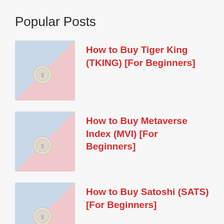Popular Posts
[Figure (illustration): Thumbnail image with light blue and pink diagonal background and a small coin in center]
How to Buy Tiger King (TKING) [For Beginners]
[Figure (illustration): Thumbnail image with light blue and pink diagonal background and a small coin in center]
How to Buy Metaverse Index (MVI) [For Beginners]
[Figure (illustration): Thumbnail image with light blue and pink diagonal background and a small coin in center]
How to Buy Satoshi (SATS) [For Beginners]